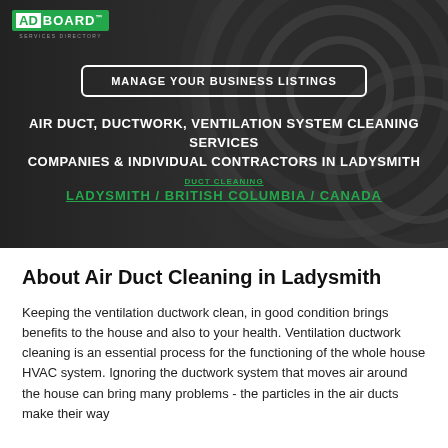[Figure (other): Hero banner with dark background showing circular air duct/ventilation imagery. Contains ADBOARD logo, a 'Manage Your Business Listings' button, service category title, and breadcrumb navigation.]
About Air Duct Cleaning in Ladysmith
Keeping the ventilation ductwork clean, in good condition brings benefits to the house and also to your health. Ventilation ductwork cleaning is an essential process for the functioning of the whole house HVAC system. Ignoring the ductwork system that moves air around the house can bring many problems - the particles in the air ducts make their way